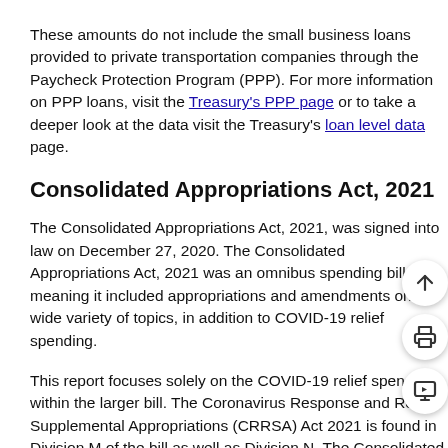These amounts do not include the small business loans provided to private transportation companies through the Paycheck Protection Program (PPP). For more information on PPP loans, visit the Treasury's PPP page or to take a deeper look at the data visit the Treasury's loan level data page.
Consolidated Appropriations Act, 2021
The Consolidated Appropriations Act, 2021, was signed into law on December 27, 2020. The Consolidated Appropriations Act, 2021 was an omnibus spending bill, meaning it included appropriations and amendments on a wide variety of topics, in addition to COVID-19 relief spending.
This report focuses solely on the COVID-19 relief spending within the larger bill. The Coronavirus Response and Relief Supplemental Appropriations (CRRSA) Act 2021 is found in Division M of the bill as well as Division N. The Consolidated Appropriations Act, 2021 was a $2.3 trill...